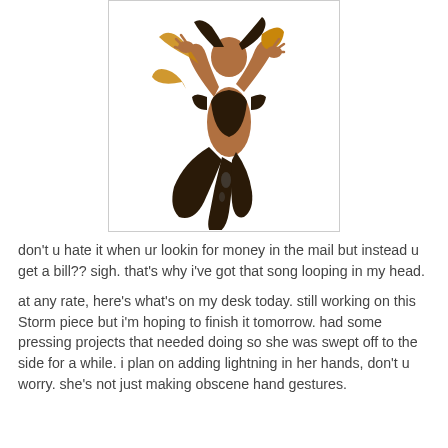[Figure (illustration): A digital illustration of a dark-skinned female character with flowing dark and golden cloth/ribbons swirling around her body. She is posed dynamically with arms raised, wearing dark garments with torn edges. The artwork has brown skin tones, dark brown/black cloth, and gold/yellow accents.]
don't u hate it when ur lookin for money in the mail but instead u get a bill?? sigh. that's why i've got that song looping in my head.
at any rate, here's what's on my desk today. still working on this Storm piece but i'm hoping to finish it tomorrow. had some pressing projects that needed doing so she was swept off to the side for a while. i plan on adding lightning in her hands, don't u worry. she's not just making obscene hand gestures.